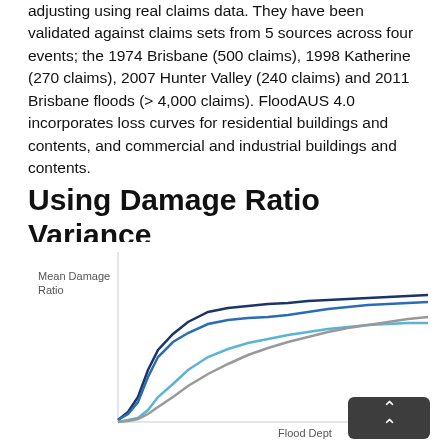adjusting using real claims data. They have been validated against claims sets from 5 sources across four events; the 1974 Brisbane (500 claims), 1998 Katherine (270 claims), 2007 Hunter Valley (240 claims) and 2011 Brisbane floods (> 4,000 claims). FloodAUS 4.0 incorporates loss curves for residential buildings and contents, and commercial and industrial buildings and contents.
Using Damage Ratio Variance
[Figure (continuous-plot): Line chart showing multiple lines of Mean Damage Ratio vs Flood Depth. Four lines in dark navy, medium blue, light blue, and gray, all rising from left to right with the navy line highest and gray lowest.]